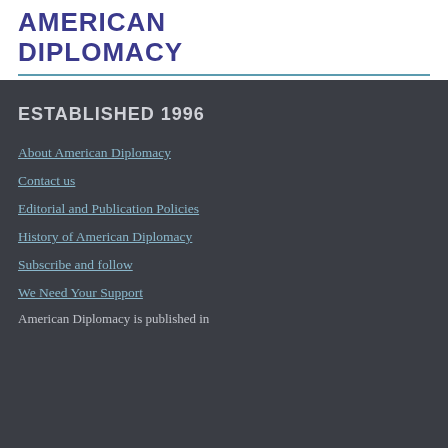AMERICAN DIPLOMACY
ESTABLISHED 1996
About American Diplomacy
Contact us
Editorial and Publication Policies
History of American Diplomacy
Subscribe and follow
We Need Your Support
American Diplomacy is published in